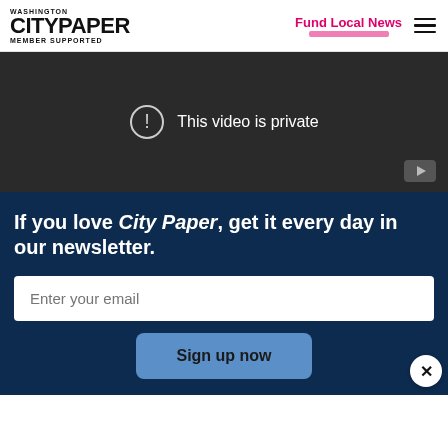Washington City Paper — Member Supported | Fund Local News
[Figure (screenshot): Private YouTube video placeholder — dark background with exclamation circle icon and text 'This video is private', YouTube play button icon at bottom right]
If you love City Paper, get it every day in our newsletter.
Enter your email
Sign up now